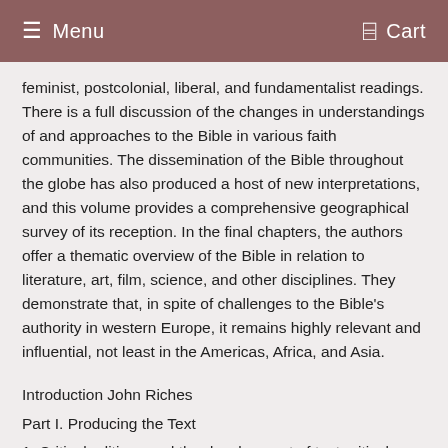Menu   Cart
feminist, postcolonial, liberal, and fundamentalist readings. There is a full discussion of the changes in understandings of and approaches to the Bible in various faith communities. The dissemination of the Bible throughout the globe has also produced a host of new interpretations, and this volume provides a comprehensive geographical survey of its reception. In the final chapters, the authors offer a thematic overview of the Bible in relation to literature, art, film, science, and other disciplines. They demonstrate that, in spite of challenges to the Bible's authority in western Europe, it remains highly relevant and influential, not least in the Americas, Africa, and Asia.
Introduction John Riches
Part I. Producing the Text
1. Critical editions and the development of text-critical methods, part 2
from Lachmann (1831) to the present Eldon Epp
2. Producing the text